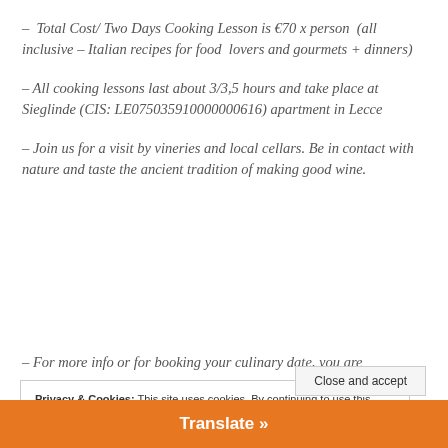– Total Cost/ Two Days Cooking Lesson is €70 x person (all inclusive – Italian recipes for food lovers and gourmets + dinners)
– All cooking lessons last about 3/3,5 hours and take place at Sieglinde (CIS: LE075035910000000616) apartment in Lecce
– Join us for a visit by vineries and local cellars. Be in contact with nature and taste the ancient tradition of making good wine.
– For more info or for booking your culinary date, you are
Privacy & Cookies: This site uses cookies. By continuing to use this website, you agree to their use. To find out more, including how to control cookies, see here: Cookie Policy
Close and accept
Translate »